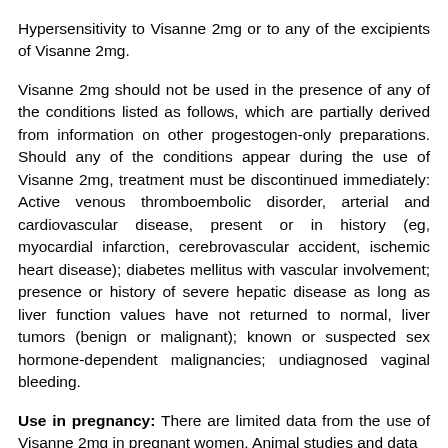Hypersensitivity to Visanne 2mg or to any of the excipients of Visanne 2mg.
Visanne 2mg should not be used in the presence of any of the conditions listed as follows, which are partially derived from information on other progestogen-only preparations. Should any of the conditions appear during the use of Visanne 2mg, treatment must be discontinued immediately: Active venous thromboembolic disorder, arterial and cardiovascular disease, present or in history (eg, myocardial infarction, cerebrovascular accident, ischemic heart disease); diabetes mellitus with vascular involvement; presence or history of severe hepatic disease as long as liver function values have not returned to normal, liver tumors (benign or malignant); known or suspected sex hormone-dependent malignancies; undiagnosed vaginal bleeding.
Use in pregnancy: There are limited data from the use of Visanne 2mg in pregnant women. Animal studies and data...